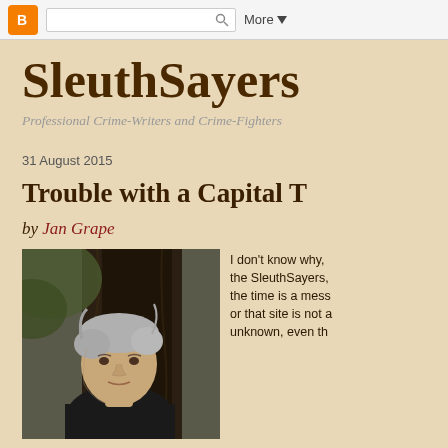Blogger navbar with logo, search box, and More button
SleuthSayers
Professional Crime-Writers and Crime-Fighters
31 August 2015
Trouble with a Capital T
by Jan Grape
[Figure (photo): Outdoor photo of an older woman with gray hair standing in front of a large tree trunk]
I don't know why, the SleuthSayers, the time is a mess or that site is not a unknown, even th